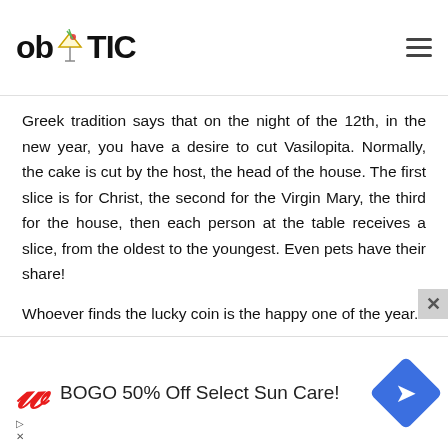ob TIC
Greek tradition says that on the night of the 12th, in the new year, you have a desire to cut Vasilopita. Normally, the cake is cut by the host, the head of the house. The first slice is for Christ, the second for the Virgin Mary, the third for the house, then each person at the table receives a slice, from the oldest to the youngest. Even pets have their share!
Whoever finds the lucky coin is the happy one of the year.
[Figure (screenshot): Walgreens advertisement banner: red stylized W logo, text 'BOGO 50% Off Select Sun Care!', blue diamond navigation arrow icon]